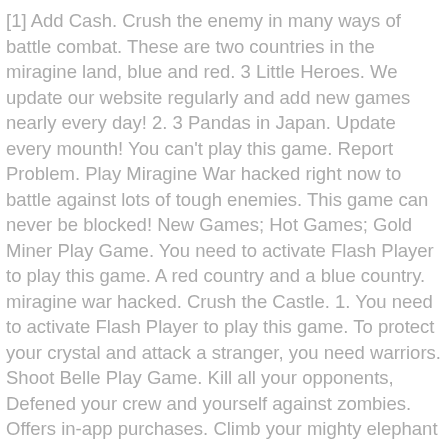[1] Add Cash. Crush the enemy in many ways of battle combat. These are two countries in the miragine land, blue and red. 3 Little Heroes. We update our website regularly and add new games nearly every day! 2. 3 Pandas in Japan. Update every mounth! You can't play this game. Report Problem. Play Miragine War hacked right now to battle against lots of tough enemies. This game can never be blocked! New Games; Hot Games; Gold Miner Play Game. You need to activate Flash Player to play this game. A red country and a blue country. miragine war hacked. Crush the Castle. 1. You need to activate Flash Player to play this game. To protect your crystal and attack a stranger, you need warriors. Shoot Belle Play Game. Kill all your opponents, Defened your crew and yourself against zombies. Offers in-app purchases. Climb your mighty elephant and go on your mission to defeat hordes of enemies. 4 Decrease Population Limit. [3] Increase Population Limit. Help us make the site better. 2D Air Hockey. Avoid the assaults of enemies ... It requires a desktop browser and high resolution